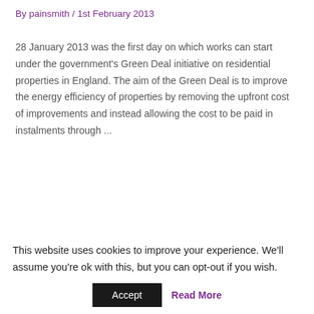By painsmith / 1st February 2013
28 January 2013 was the first day on which works can start under the government's Green Deal initiative on residential properties in England. The aim of the Green Deal is to improve the energy efficiency of properties by removing the upfront cost of improvements and instead allowing the cost to be paid in instalments through ...
Read More »
EPCs – latest news
This website uses cookies to improve your experience. We'll assume you're ok with this, but you can opt-out if you wish.
Accept | Read More